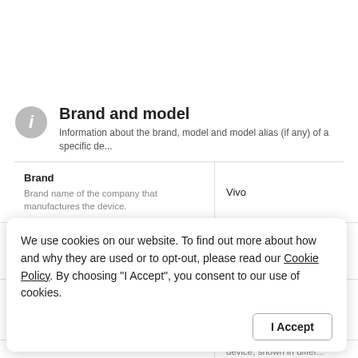Brand and model
Information about the brand, model and model alias (if any) of a specific de...
| Field | Description | Value |
| --- | --- | --- |
| Brand | Brand name of the company that manufactures the device. | Vivo |
| Model | Model name of the device. | X80 Pro |
| Model alias | Alternative names, under which the model is know... | V2186A |
We use cookies on our website. To find out more about how and why they are used or to opt-out, please read our Cookie Policy. By choosing "I Accept", you consent to our use of cookies.
...device, shown in differ...